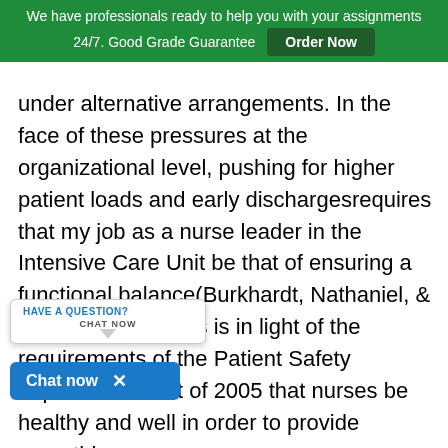We have professionals ready to help you with your assignments 24/7. Good Grade Guarantee | Order Now
under alternative arrangements. In the face of these pressures at the organizational level, pushing for higher patient loads and early dischargesrequires that my job as a nurse leader in the Intensive Care Unit be that of ensuring a functional balance(Burkhardt, Nathaniel, & Walton, 2014). This is in light of the requirements of the Patient Safety Improvement Act of 2005 that nurses be healthy and well in order to provide empathic care
[Figure (screenshot): Chat widget with 'HAVE A QUESTION? CHAT NOW' label and blue 'Chat now X' button]